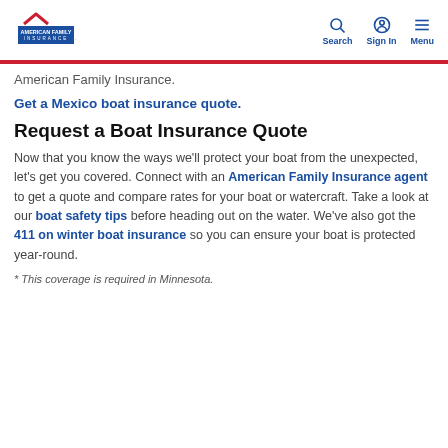American Family Insurance — Search | Sign In | Menu
American Family Insurance.
Get a Mexico boat insurance quote.
Request a Boat Insurance Quote
Now that you know the ways we'll protect your boat from the unexpected, let's get you covered. Connect with an American Family Insurance agent to get a quote and compare rates for your boat or watercraft. Take a look at our boat safety tips before heading out on the water. We've also got the 411 on winter boat insurance so you can ensure your boat is protected year-round.
* This coverage is required in Minnesota.